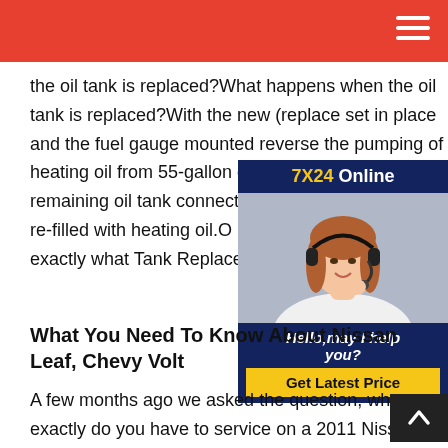the oil tank is replaced?What happens when the oil tank is replaced?With the new (replace set in place and the fuel gauge mounted reverse the pumping of heating oil from 55-gallon drums back into the new tan remaining oil tank connections continue tank is being re-filled with heating oil.O Replacement - details of exactly what Tank Replacement details of exactly w
[Figure (photo): Advertisement widget with '7X24 Online' header, photo of a woman with headset, text 'Hello, may I help you?' and a 'Get Latest Price' button]
What You Need To Know About Nissan Leaf, Chevy Volt
A few months ago we asked the question, what exactly do you have to service on a 2011 Nissan LEAF? After all, the LEAF doesn't even contain many of What Does